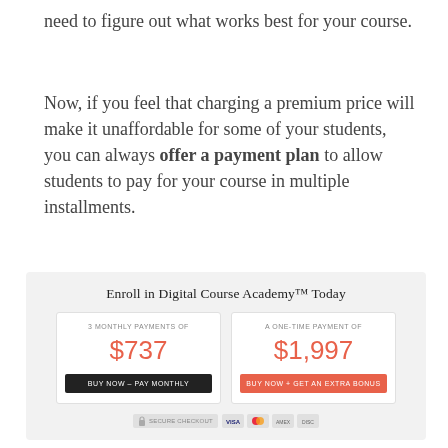need to figure out what works best for your course.
Now, if you feel that charging a premium price will make it unaffordable for some of your students, you can always offer a payment plan to allow students to pay for your course in multiple installments.
[Figure (infographic): Enrollment box for Digital Course Academy with two payment options: 3 monthly payments of $737 (BUY NOW - PAY MONTHLY) and a one-time payment of $1,997 (BUY NOW + GET AN EXTRA BONUS), plus secure payment icons.]